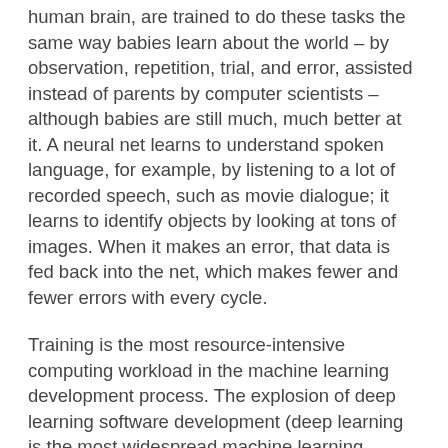human brain, are trained to do these tasks the same way babies learn about the world – by observation, repetition, trial, and error, assisted instead of parents by computer scientists – although babies are still much, much better at it. A neural net learns to understand spoken language, for example, by listening to a lot of recorded speech, such as movie dialogue; it learns to identify objects by looking at tons of images. When it makes an error, that data is fed back into the net, which makes fewer and fewer errors with every cycle.
Training is the most resource-intensive computing workload in the machine learning development process. The explosion of deep learning software development (deep learning is the most widespread machine learning technique) is driving a growing need for specialized computing infrastructure, geared for the types of workloads required to train neural nets. These computers are similar to high-